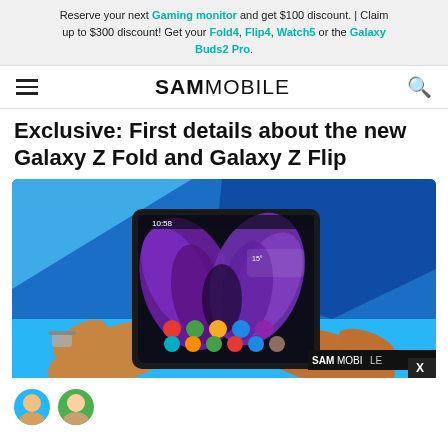Reserve your next Gaming monitor and get $100 discount. | Claim up to $300 discount! Get your Fold4, Flip4, Watch5 or the Galaxy Buds2 Pro.
SAMMOBILE
Exclusive: First details about the new Galaxy Z Fold and Galaxy Z Flip
[Figure (photo): Hands holding an open Samsung Galaxy Z Fold smartphone showing a purple floral wallpaper and app icons on a teal/blue background. SamMobile watermark in bottom right.]
Author avatar strip at bottom of page